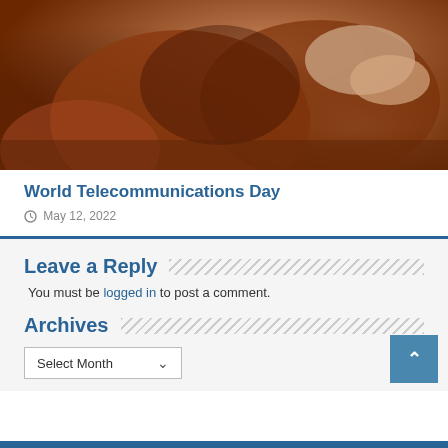[Figure (photo): Cropped photo of a person wearing a brown/rust-colored jacket, arms crossed on a table, partial view of hands and wristwatch]
World Telecommunications Day
May 12, 2022
Leave a Reply
You must be logged in to post a comment.
Archives
Select Month